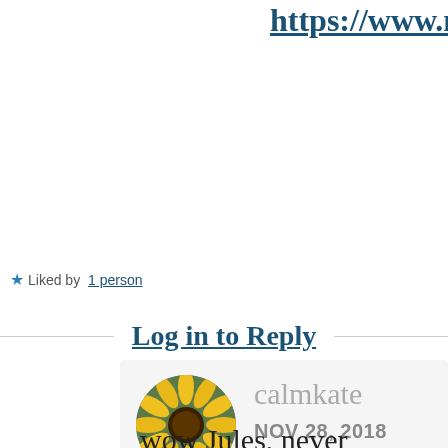Good News section: https://www.msn.com/en-us/news/good-news
Liked by 1 person
Log in to Reply
[Figure (photo): Circular avatar photo of a yellow sunflower]
calmkate NOV 28, 2018 AT 7:28 AM
wow Jules, never heard of it but havo